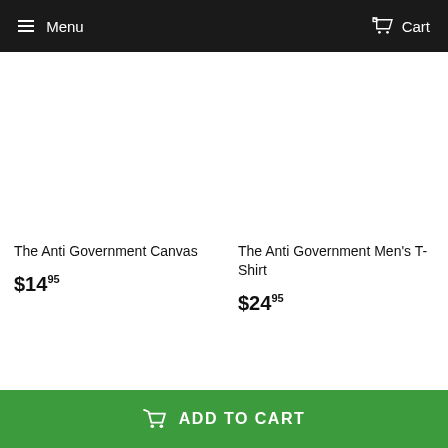Menu  Cart
The Anti Government Canvas
$14.95
The Anti Government Men's T-Shirt
$24.95
ADD TO CART